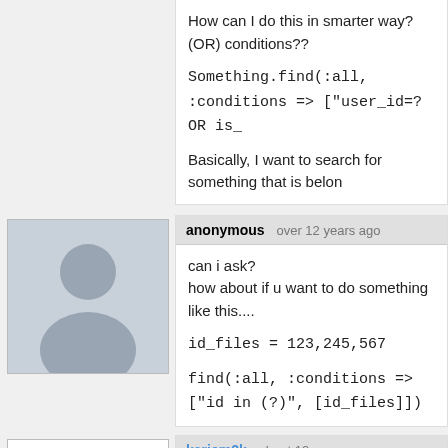How can I do this in smarter way? (OR) conditions??

Something.find(:all, :conditions => ["user_id=? OR is_

Basically, I want to search for something that is belon
anonymous  over 12 years ago

can i ask?
how about if u want to do something like this....

id_files = 123,245,567

find(:all, :conditions => ["id in (?)", [id_files]])
[Figure (illustration): Anonymous user avatar - gray silhouette of a person on blue-gray background]
kariem2k  about 12 years ago

About doing that for nested objects, if the query has :

i have tried to do this and it worked 'test_nested.test_

Any problems that may come from that?

Thanks for the screen screen casts, which i really the
[Figure (illustration): kariem2k avatar - circuit/transistor diagram drawing on white background]